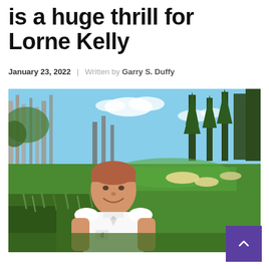is a huge thrill for Lorne Kelly
January 23, 2022 | Written by Garry S. Duffy
[Figure (photo): Man in white polo shirt smiling at a golf course with tall pine trees, green fairway, sand bunkers, and blue sky in the background.]